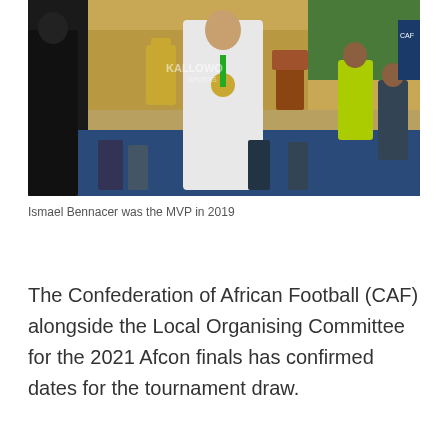[Figure (photo): Ismael Bennacer celebrating with a trophy and medal at the 2019 Africa Cup of Nations. The player is in a white kit, holding a gold trophy in one hand and a wooden award in the other, with a medal around his neck. Crowd and officials visible in the background. Kallowo Sports watermark visible.]
Ismael Bennacer was the MVP in 2019
The Confederation of African Football (CAF) alongside the Local Organising Committee for the 2021 Afcon finals has confirmed dates for the tournament draw.